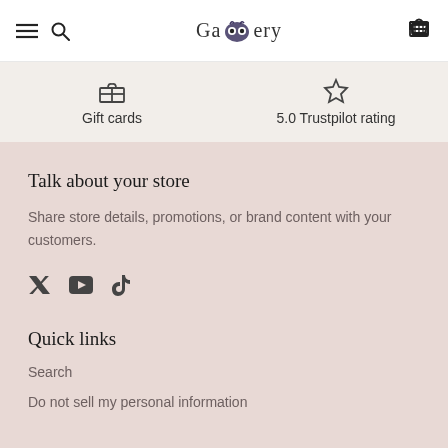Gagglery - navigation header with hamburger menu, search, logo, and cart
Gift cards | 5.0 Trustpilot rating
Talk about your store
Share store details, promotions, or brand content with your customers.
[Figure (infographic): Social media icons: Twitter, YouTube, TikTok]
Quick links
Search
Do not sell my personal information